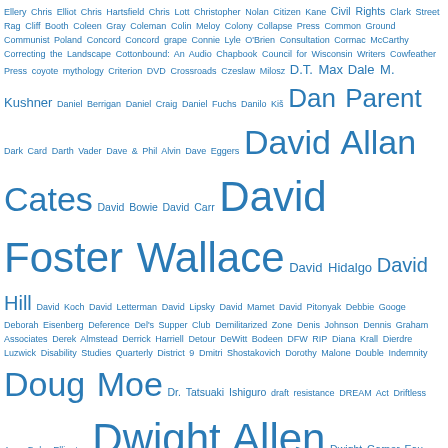[Figure (infographic): Tag cloud in blue text featuring names of authors, places, and topics at varying font sizes indicating frequency/importance. Terms include Ellery Chris, Elliot Chris, Hartsfield Chris, Lott Christopher, Nolan Citizen Kane, Civil Rights, Clark Street Rag, Cliff Booth, Coleen Gray, Coleman, Colin Meloy, Colony, Collapse Press, Common Ground, Communist Poland, Concord, Concord grape, Connie Lyle O'Brien, Consultation, Cormac McCarthy, Correcting the Landscape, Cottonbound: An Audio Chapbook, Council for Wisconsin Writers, Cowfeather Press, coyote mythology, Criterion DVD, Crossroads, Czeslaw Milosz, D.T. Max, Dale M. Kushner, Daniel Berrigan, Daniel Craig, Daniel Fuchs, Danilo Kis, Dan Parent, Dark Card, Darth Vader, Dave & Phil Alvin, Dave Eggers, David Allan Cates, David Bowie, David Carr, David Foster Wallace, David Hidalgo, David Hill, David Koch, David Letterman, David Lipsky, David Mamet, David Pitonyak, Debbie Googe, Deborah Eisenberg, Deference, Del's Supper Club, Demilitarized Zone, Denis Johnson, Dennis Graham Associates, Derek Almstead, Derrick Harriell, Detour, DeWitt Bodeen, DFW RIP, Diana Krall, Dierdre Luzwick, Disability Studies Quarterly, District 9, Dmitri Shostakovich, Dorothy Malone, Double Indemnity, Doug Moe, Dr. Tatsuaki Ishiguro, draft resistance, DREAM Act, Driftless Area, Duke Ellington, Dwight Allen, Dwight Garner, Eau Claire Wisconsin, ebook, ebooks, Echoes, economics, econophysics, Ed Begley Jr., Edenfred, Edgar Allan Poe, Edgar G.]